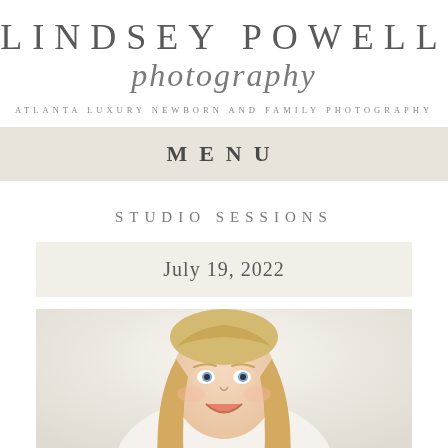LINDSEY POWELL
photography
ATLANTA LUXURY NEWBORN AND FAMILY PHOTOGRAPHY
MENU
STUDIO SESSIONS
July 19, 2022
[Figure (photo): Smiling young blonde girl in a white studio setting]